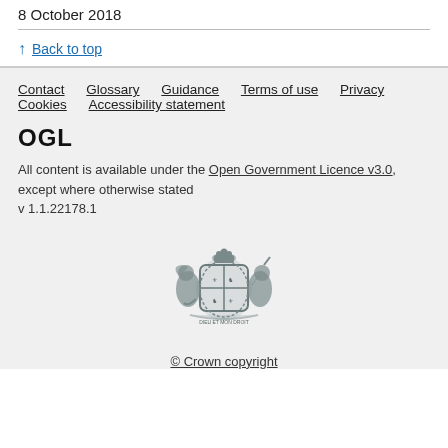8 October 2018
↑ Back to top
Contact  Glossary  Guidance  Terms of use  Privacy  Cookies  Accessibility statement
OGL
All content is available under the Open Government Licence v3.0, except where otherwise stated
v 1.1.22178.1
[Figure (illustration): UK Royal Coat of Arms in grey]
© Crown copyright